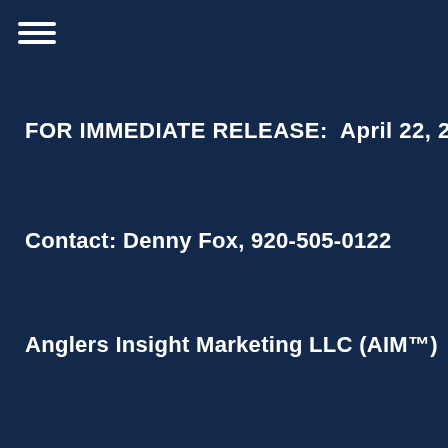[Figure (other): Hamburger menu icon with three horizontal white lines on dark navy background]
FOR IMMEDIATE RELEASE:  April 22, 2016
Contact: Denny Fox, 920-505-0122
Anglers Insight Marketing LLC (AIM™)